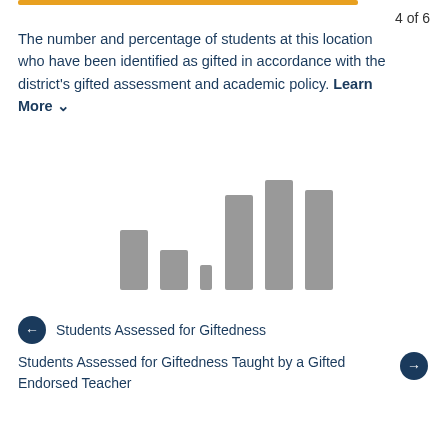4 of 6
The number and percentage of students at this location who have been identified as gifted in accordance with the district’s gifted assessment and academic policy. Learn More ⌄
[Figure (bar-chart): Loading/placeholder bar chart graphic showing grey bars of varying heights, chart data not yet loaded]
← Students Assessed for Giftedness
Students Assessed for Giftedness Taught by a Gifted Endorsed Teacher →